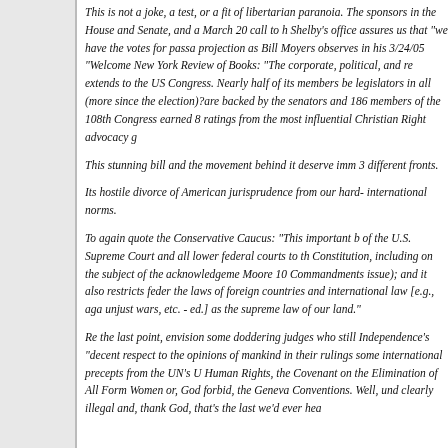This is not a joke, a test, or a fit of libertarian paranoia. The sponsors in the House and Senate, and a March 20 call to h Shelby's office assures us that "we have the votes for passa projection as Bill Moyers observes in his 3/24/05 "Welcome New York Review of Books: "The corporate, political, and re extends to the US Congress. Nearly half of its members be legislators in all (more since the election)?are backed by the senators and 186 members of the 108th Congress earned 8 ratings from the most influential Christian Right advocacy g
This stunning bill and the movement behind it deserve imm 3 different fronts.
Its hostile divorce of American jurisprudence from our hard- international norms.
To again quote the Conservative Caucus: "This important b of the U.S. Supreme Court and all lower federal courts to th Constitution, including on the subject of the acknowledgeme Moore 10 Commandments issue); and it also restricts feder the laws of foreign countries and international law [e.g., aga unjust wars, etc. - ed.] as the supreme law of our land."
Re the last point, envision some doddering judges who still Independence's "decent respect to the opinions of mankind in their rulings some international precepts from the UN's U Human Rights, the Covenant on the Elimination of All Form Women or, God forbid, the Geneva Conventions. Well, und clearly illegal and, thank God, that's the last we'd ever hea